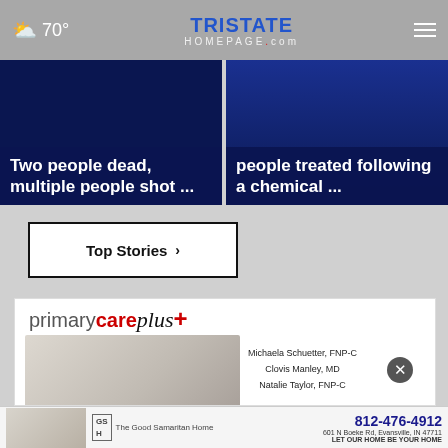70° | TristateHomepage.com
Two people dead, multiple people shot ...
people treated following a chemical ...
Top Stories ›
[Figure (advertisement): primarycare plus+ advertisement with doctors Michaela Schuetter FNP-C, Clovis Manley MD, Natalie Taylor FNP-C]
[Figure (advertisement): The Good Samaritan Home ad: 812-476-4912, 601 N Boeke Rd, Evansville IN 47711, LET OUR HOME BE YOUR HOME]